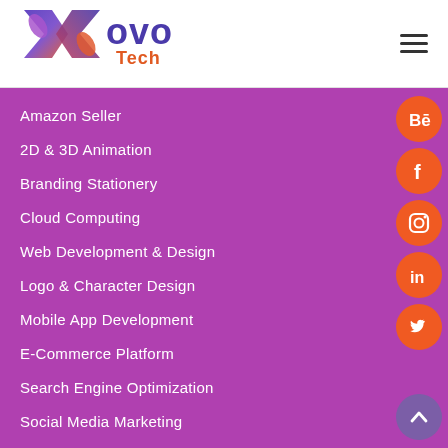[Figure (logo): Xovo Tech logo with stylized X in blue/purple gradient and orange 'Tech' text]
Amazon Seller
2D & 3D Animation
Branding Stationery
Cloud Computing
Web Development & Design
Logo & Character Design
Mobile App Development
E-Commerce Platform
Search Engine Optimization
Social Media Marketing